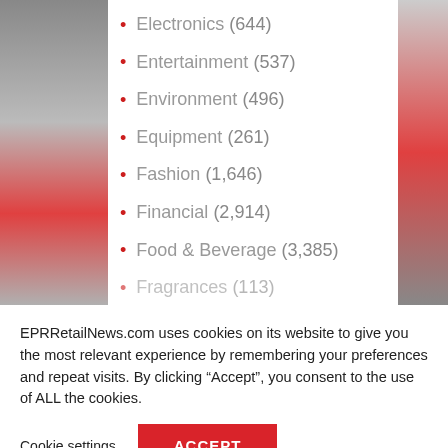Electronics (644)
Entertainment (537)
Environment (496)
Equipment (261)
Fashion (1,646)
Financial (2,914)
Food & Beverage (3,385)
Fragrances (113)
EPRRetailNews.com uses cookies on its website to give you the most relevant experience by remembering your preferences and repeat visits. By clicking “Accept”, you consent to the use of ALL the cookies.
Cookie settings
ACCEPT